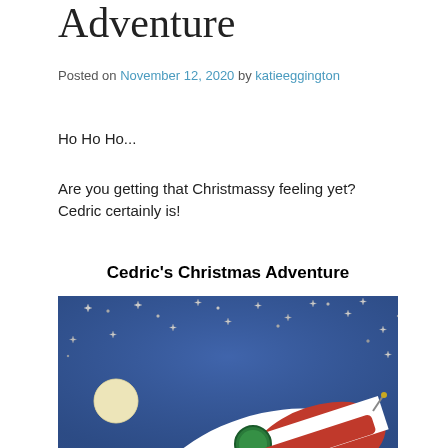Adventure
Posted on November 12, 2020 by katieeggington
Ho Ho Ho...
Are you getting that Christmassy feeling yet? Cedric certainly is!
Cedric's Christmas Adventure
[Figure (illustration): Children's book illustration showing a night sky scene with a blue background, stars, a pale moon, and a red and white rocket ship with a green porthole window, suggesting a Christmas space adventure.]